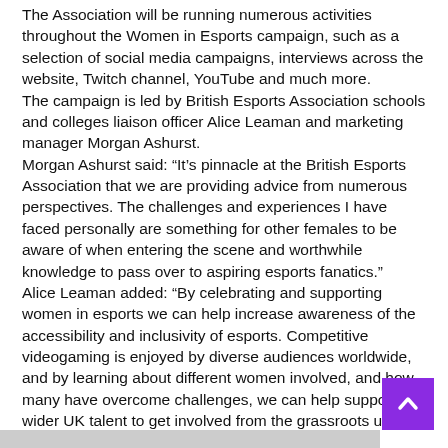The Association will be running numerous activities throughout the Women in Esports campaign, such as a selection of social media campaigns, interviews across the website, Twitch channel, YouTube and much more.
The campaign is led by British Esports Association schools and colleges liaison officer Alice Leaman and marketing manager Morgan Ashurst.
Morgan Ashurst said: “It’s pinnacle at the British Esports Association that we are providing advice from numerous perspectives. The challenges and experiences I have faced personally are something for other females to be aware of when entering the scene and worthwhile knowledge to pass over to aspiring esports fanatics.”
Alice Leaman added: “By celebrating and supporting women in esports we can help increase awareness of the accessibility and inclusivity of esports. Competitive videogaming is enjoyed by diverse audiences worldwide, and by learning about different women involved, and how many have overcome challenges, we can help support wider UK talent to get involved from the grassroots up.”